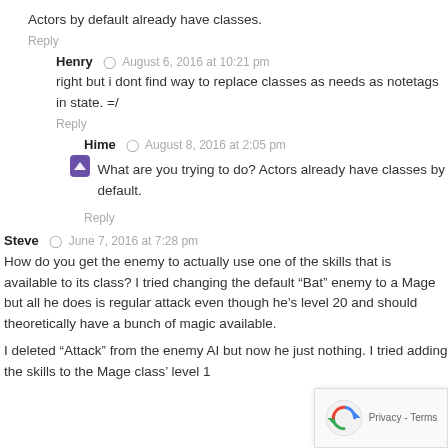Actors by default already have classes.
Reply
Henry ⊙ August 6, 2016 at 10:21 pm
right but i dont find way to replace classes as needs as notetags in state. =/
Reply
Hime ⊙ August 8, 2016 at 2:05 pm
What are you trying to do? Actors already have classes by default.
Reply
Steve ⊙ June 7, 2016 at 7:28 pm
How do you get the enemy to actually use one of the skills that is available to its class? I tried changing the default “Bat” enemy to a Mage but all he does is regular attack even though he's level 20 and should theoretically have a bunch of magic available.
I deleted “Attack” from the enemy AI but now he just nothing. I tried adding the skills to the Mage class’ level 1